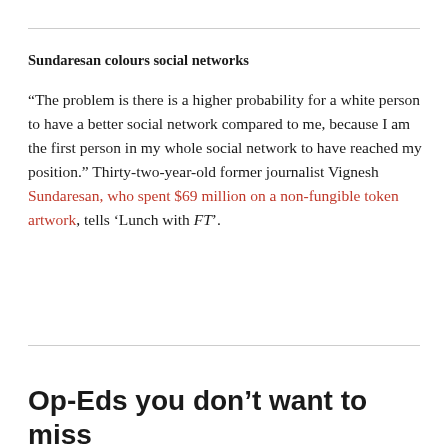Sundaresan colours social networks
“The problem is there is a higher probability for a white person to have a better social network compared to me, because I am the first person in my whole social network to have reached my position.” Thirty-two-year-old former journalist Vignesh Sundaresan, who spent $69 million on a non-fungible token artwork, tells ‘Lunch with FT’.
Op-Eds you don’t want to miss